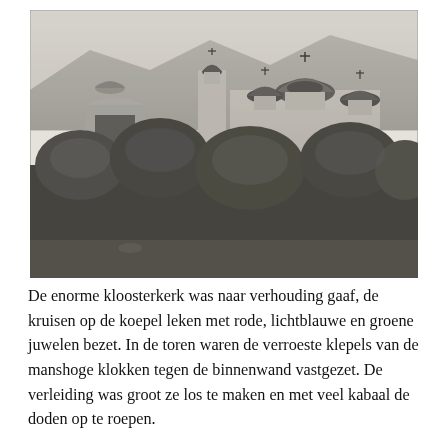[Figure (photo): Black and white historical photograph of a large Russian Orthodox monastery church complex with multiple onion domes topped with crosses, surrounded by lush trees and vegetation, with mountains visible in the background.]
De enorme kloosterkerk was naar verhouding gaaf, de kruisen op de koepel leken met rode, lichtblauwe en groene juwelen bezet. In de toren waren de verroeste klepels van de manshoge klokken tegen de binnenwand vastgezet. De verleiding was groot ze los te maken en met veel kabaal de doden op te roepen.